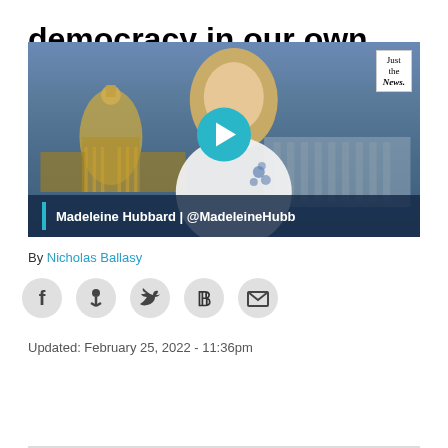democracy in our own country
[Figure (screenshot): Video thumbnail showing a female news anchor (Madeleine Hubbard) in front of a US Capitol building background, with a cyan play button in the center. Lower-third chyron reads 'Madeleine Hubbard | @MadeleineHubb'. 'Just the News' logo in the top right corner.]
By Nicholas Ballasy
[Figure (infographic): Row of social sharing icon buttons: Facebook, share (dots), Twitter, Parler, Email]
Updated: February 25, 2022 - 11:36pm